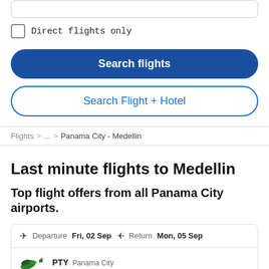Direct flights only
Search flights
Search Flight + Hotel
Flights > ... > Panama City - Medellin
Last minute flights to Medellin
Top flight offers from all Panama City airports.
Departure Fri, 02 Sep  Return Mon, 05 Sep
PTY Panama City